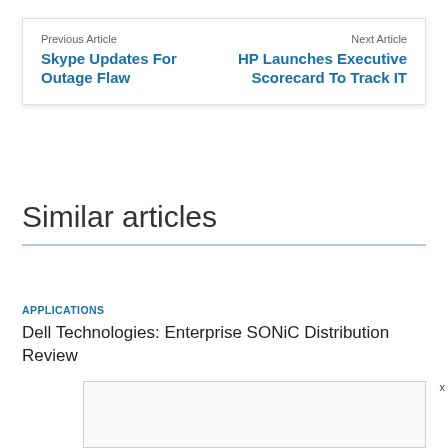Previous Article
Skype Updates For Outage Flaw
Next Article
HP Launches Executive Scorecard To Track IT
Similar articles
APPLICATIONS
Dell Technologies: Enterprise SONiC Distribution Review